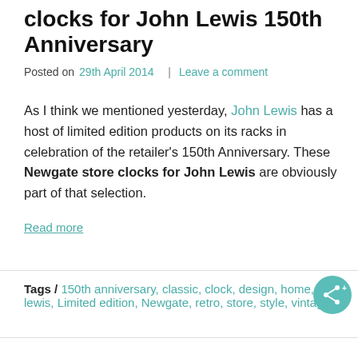clocks for John Lewis 150th Anniversary
Posted on 29th April 2014 | Leave a comment
As I think we mentioned yesterday, John Lewis has a host of limited edition products on its racks in celebration of the retailer's 150th Anniversary. These Newgate store clocks for John Lewis are obviously part of that selection.
Read more
Tags / 150th anniversary, classic, clock, design, home, john lewis, Limited edition, Newgate, retro, store, style, vintage